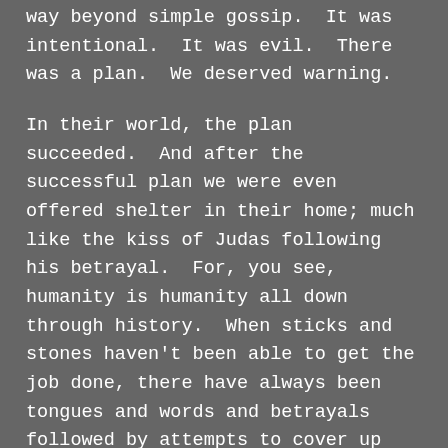way beyond simple gossip.  It was intentional.  It was evil.  There was a plan.  We deserved warning.
In their world, the plan succeeded.  And after the successful plan we were even offered shelter in their home; much like the kiss of Judas following his betrayal.  For, you see, humanity is humanity all down through history.  When sticks and stones haven't been able to get the job done, there have always been tongues and words and betrayals followed by attempts to cover up the sin.
And this is where I have struggled with the sharing of my story.  The fear of being